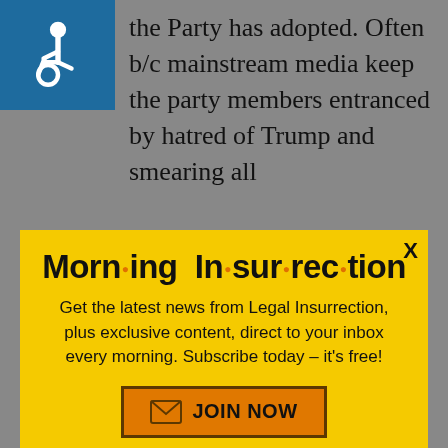the Party has adopted. Often b/c mainstream media keep the party members entranced by hatred of Trump and smearing all
[Figure (infographic): Yellow popup modal for Morning Insurrection newsletter subscription with title, description text, and JOIN NOW button]
money for appearances for a non-capitalist speaker
[Figure (infographic): Red advertisement banner: Text LiveLongDC to 888-811 to find naloxone near you]
Communist Quiz sketch" where Karl